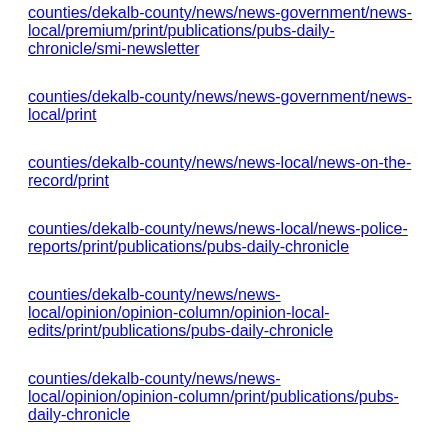counties/dekalb-county/news/news-government/news-local/premium/print/publications/pubs-daily-chronicle/smi-newsletter
counties/dekalb-county/news/news-government/news-local/print
counties/dekalb-county/news/news-local/news-on-the-record/print
counties/dekalb-county/news/news-local/news-police-reports/print/publications/pubs-daily-chronicle
counties/dekalb-county/news/news-local/opinion/opinion-column/opinion-local-edits/print/publications/pubs-daily-chronicle
counties/dekalb-county/news/news-local/opinion/opinion-column/print/publications/pubs-daily-chronicle
counties/dekalb-county/news/news-local/premium/print/publications/pubs-daily-chronicle